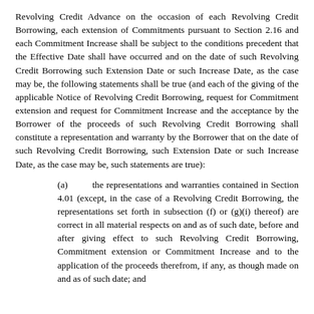Revolving Credit Advance on the occasion of each Revolving Credit Borrowing, each extension of Commitments pursuant to Section 2.16 and each Commitment Increase shall be subject to the conditions precedent that the Effective Date shall have occurred and on the date of such Revolving Credit Borrowing such Extension Date or such Increase Date, as the case may be, the following statements shall be true (and each of the giving of the applicable Notice of Revolving Credit Borrowing, request for Commitment extension and request for Commitment Increase and the acceptance by the Borrower of the proceeds of such Revolving Credit Borrowing shall constitute a representation and warranty by the Borrower that on the date of such Revolving Credit Borrowing, such Extension Date or such Increase Date, as the case may be, such statements are true):
(a) the representations and warranties contained in Section 4.01 (except, in the case of a Revolving Credit Borrowing, the representations set forth in subsection (f) or (g)(i) thereof) are correct in all material respects on and as of such date, before and after giving effect to such Revolving Credit Borrowing, Commitment extension or Commitment Increase and to the application of the proceeds therefrom, if any, as though made on and as of such date; and